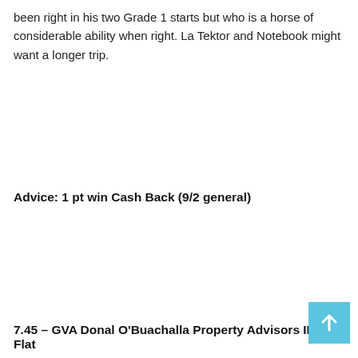been right in his two Grade 1 starts but who is a horse of considerable ability when right. La Tektor and Notebook might want a longer trip.
Advice: 1 pt win Cash Back (9/2 general)
7.45 – GVA Donal O'Buachalla Property Advisors INH Flat